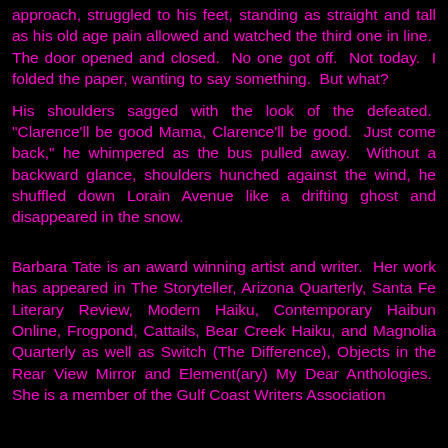approach, struggled to his feet, standing as straight and tall as his old age pain allowed and watched the third one in line. The door opened and closed. No one got off. Not today. I folded the paper, wanting to say something. But what?
His shoulders sagged with the look of the defeated. "Clarence'll be good Mama, Clarence'll be good. Just come back," he whimpered as the bus pulled away. Without a backward glance, shoulders hunched against the wind, he shuffled down Lorain Avenue like a drifting ghost and disappeared in the snow.
Barbara Tate is an award winning artist and writer. Her work has appeared in The Storyteller, Arizona Quarterly, Santa Fe Literary Review, Modern Haiku, Contemporary Haibun Online, Frogpond, Cattails, Bear Creek Haiku, and Magnolia Quarterly as well as Switch (The Difference), Objects in the Rear View Mirror and Element(ary) My Dear Anthologies. She is a member of the Gulf Coast Writers Association